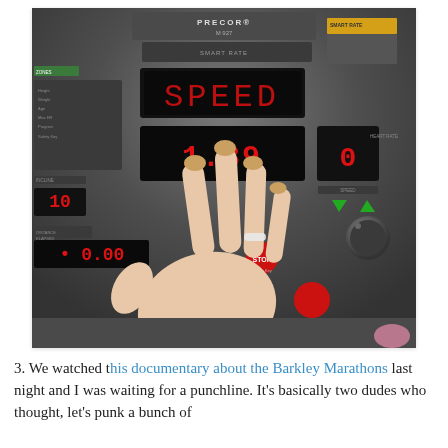[Figure (photo): A hand with gold-painted nails resting on a Precor M927 treadmill console, with red LED display showing speed and distance readings, STOP button and speed control buttons visible.]
3. We watched this documentary about the Barkley Marathons last night and I was waiting for a punchline. It's basically two dudes who thought, let's punk a bunch of